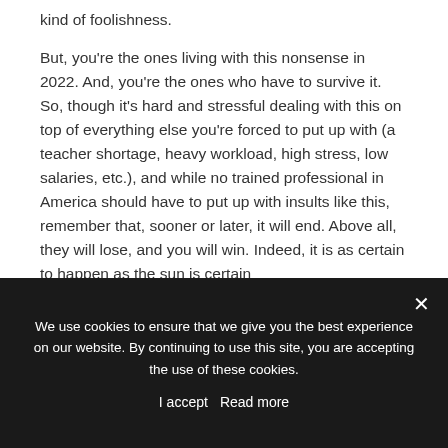kind of foolishness.
But, you're the ones living with this nonsense in 2022. And, you're the ones who have to survive it. So, though it's hard and stressful dealing with this on top of everything else you're forced to put up with (a teacher shortage, heavy workload, high stress, low salaries, etc.), and while no trained professional in America should have to put up with insults like this, remember that, sooner or later, it will end. Above all, they will lose, and you will win. Indeed, it is as certain to happen as the sun is certain
We use cookies to ensure that we give you the best experience on our website. By continuing to use this site, you are accepting the use of these cookies.
I accept  Read more